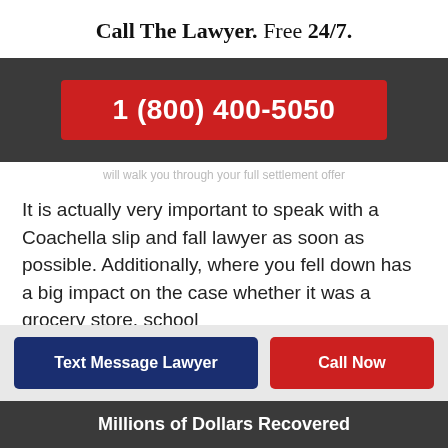Call The Lawyer. Free 24/7.
1 (800) 400-5050
will walk you through your full settlement offer
It is actually very important to speak with a Coachella slip and fall lawyer as soon as possible. Additionally, where you fell down has a big impact on the case whether it was a grocery store, school
Text Message Lawyer
Call Now
Millions of Dollars Recovered